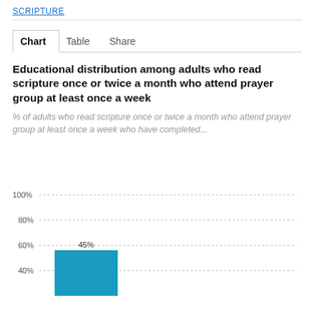SCRIPTURE
Chart	Table	Share
Educational distribution among adults who read scripture once or twice a month who attend prayer group at least once a week
% of adults who read scripture once or twice a month who attend prayer group at least once a week who have completed...
[Figure (bar-chart): Educational distribution among adults who read scripture once or twice a month who attend prayer group at least once a week]